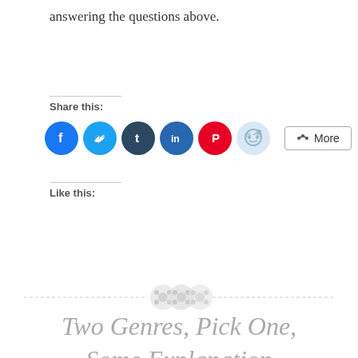answering the questions above.
Share this:
[Figure (other): Social share buttons: Facebook, Twitter, Tumblr, LinkedIn, Pinterest, Reddit, and More button]
Like this:
[Figure (other): Decorative dashed divider with three button icons in the center]
Two Genres, Pick One, Some Explanation